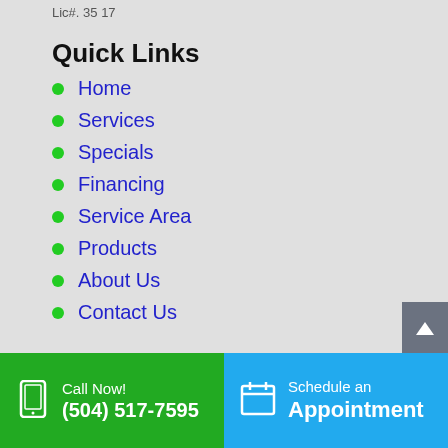Lic#. 35 17
Quick Links
Home
Services
Specials
Financing
Service Area
Products
About Us
Contact Us
Call Now! (504) 517-7595
Schedule an Appointment